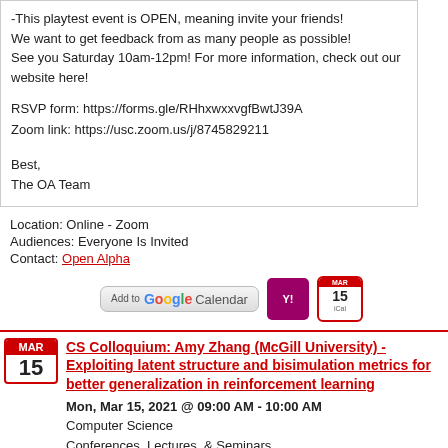-This playtest event is OPEN, meaning invite your friends! We want to get feedback from as many people as possible! See you Saturday 10am-12pm! For more information, check out our website here!

RSVP form: https://forms.gle/RHhxwxxvgfBwtJ39A
Zoom link: https://usc.zoom.us/j/8745829211

Best,
The OA Team
Location: Online - Zoom
Audiences: Everyone Is Invited
Contact: Open Alpha
[Figure (other): Add to Google Calendar button, Yahoo Calendar icon, and iCal icon]
CS Colloquium: Amy Zhang (McGill University) - Exploiting latent structure and bisimulation metrics for better generalization in reinforcement learning
Mon, Mar 15, 2021 @ 09:00 AM - 10:00 AM
Computer Science
Conferences, Lectures, & Seminars